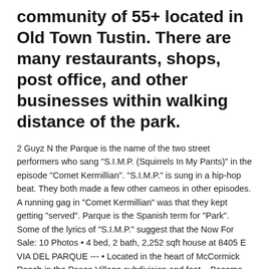community of 55+ located in Old Town Tustin. There are many restaurants, shops, post office, and other businesses within walking distance of the park.
2 Guyz N the Parque is the name of the two street performers who sang "S.I.M.P. (Squirrels In My Pants)" in the episode "Comet Kermillian". "S.I.M.P." is sung in a hip-hop beat. They both made a few other cameos in other episodes. A running gag in "Comet Kermillian" was that they kept getting "served". Parque is the Spanish term for "Park". Some of the lyrics of "S.I.M.P." suggest that the Now For Sale: 10 Photos • 4 bed, 2 bath, 2,252 sqft house at 8405 E VIA DEL PARQUE --- • Located in the heart of McCormick Ranch in the Paseo Village subdivision and feat... Become thrilled & learn; Parque Reptilanda is a great tourist attraction in Dominical for the whole family. Near Manuel Antonio, Uvita, Quepos & Ojochal 4.2: 0.50: Sign up for the free Stathead newsletter and get